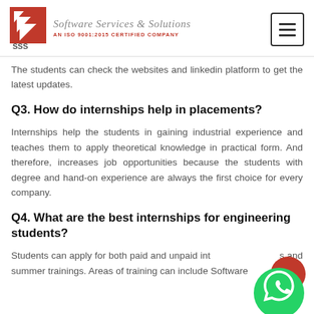[Figure (logo): SSS Software Services & Solutions logo with ISO 9001:2015 certified company text]
The students can check the websites and linkedin platform to get the latest updates.
Q3. How do internships help in placements?
Internships help the students in gaining industrial experience and teaches them to apply theoretical knowledge in practical form. And therefore, increases job opportunities because the students with degree and hand-on experience are always the first choice for every company.
Q4. What are the best internships for engineering students?
Students can apply for both paid and unpaid internships and summer trainings. Areas of training can include Software